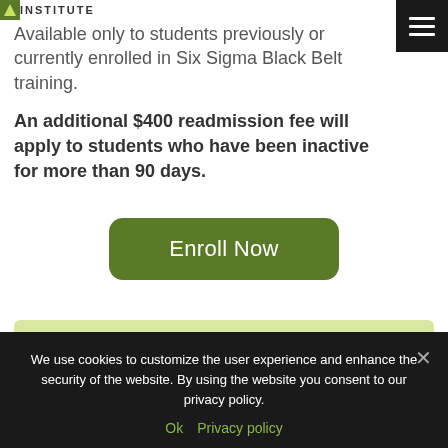INSTITUTE
Available only to students previously or currently enrolled in Six Sigma Black Belt training.
An additional $400 readmission fee will apply to students who have been inactive for more than 90 days.
Enroll Now
We use cookies to customize the user experience and enhance the security of the website. By using the website you consent to our privacy policy.
Ok  Privacy policy